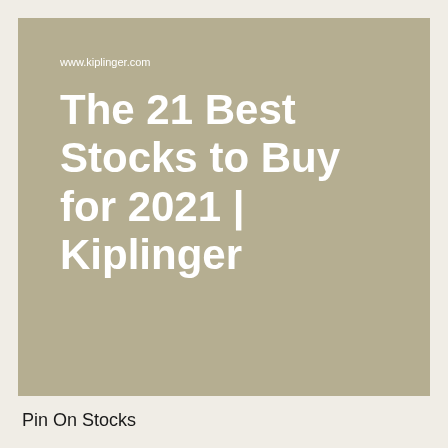[Figure (screenshot): Tan/khaki colored card image with www.kiplinger.com URL and white bold title text reading 'The 21 Best Stocks to Buy for 2021 | Kiplinger']
Pin On Stocks